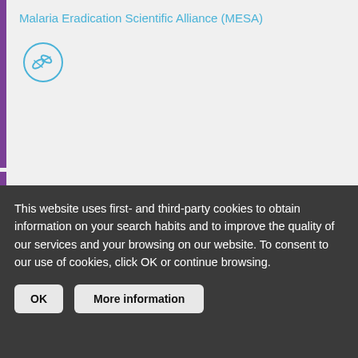Malaria Eradication Scientific Alliance (MESA)
[Figure (logo): MESA circular logo with pills/capsules icon in cyan/teal color]
[Figure (screenshot): Thumbnail of a journal article: 'malERA: An updated research agenda for diagnostics, drugs, vaccines, and vector control in malaria elimination and eradication'. Collection Review article with abstract section visible.]
This website uses first- and third-party cookies to obtain information on your search habits and to improve the quality of our services and your browsing on our website. To consent to our use of cookies, click OK or continue browsing.
OK
More information